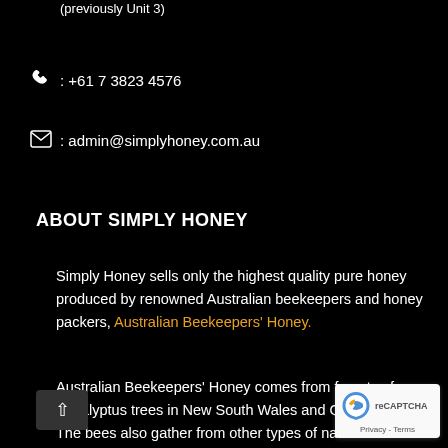(previously Unit 3)
: +61 7 3823 4576
: admin@simplyhoney.com.au
ABOUT SIMPLY HONEY
Simply Honey sells only the highest quality pure honey produced by renowned Australian beekeepers and honey packers, Australian Beekeepers' Honey.
Australian Beekeepers' Honey comes from forests of Eucalyptus trees in New South Wales and Queensland. The bees also gather from other types of native trees and shrubs in this region.